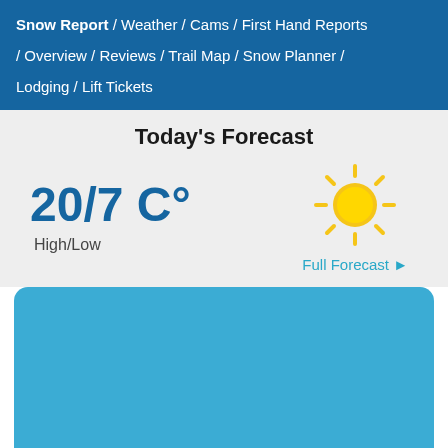Snow Report / Weather / Cams / First Hand Reports / Overview / Reviews / Trail Map / Snow Planner / Lodging / Lift Tickets
Today's Forecast
20/7 C°
High/Low
[Figure (illustration): Sun icon (yellow circle with rays) representing sunny weather forecast]
Full Forecast ▶
[Figure (screenshot): Blue panel / image placeholder at the bottom of the page]